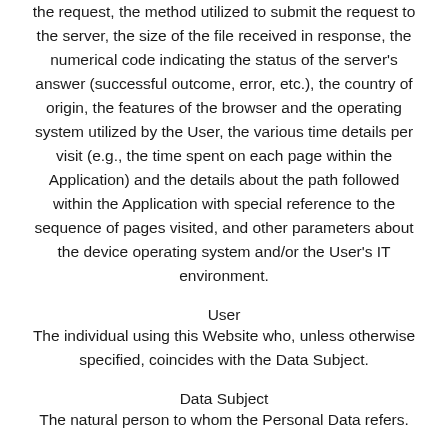the request, the method utilized to submit the request to the server, the size of the file received in response, the numerical code indicating the status of the server's answer (successful outcome, error, etc.), the country of origin, the features of the browser and the operating system utilized by the User, the various time details per visit (e.g., the time spent on each page within the Application) and the details about the path followed within the Application with special reference to the sequence of pages visited, and other parameters about the device operating system and/or the User's IT environment.
User
The individual using this Website who, unless otherwise specified, coincides with the Data Subject.
Data Subject
The natural person to whom the Personal Data refers.
Data Processor (or Data Supervisor)